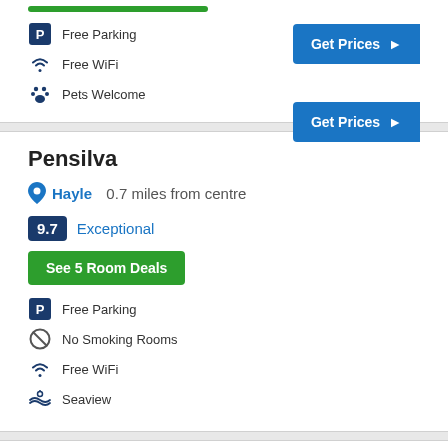Free Parking
Free WiFi
Pets Welcome
Pensilva
Hayle  0.7 miles from centre
9.7  Exceptional
See 5 Room Deals
Free Parking
No Smoking Rooms
Free WiFi
Seaview
Tamarisk Bed & Breakfast
Hayle  0.9 miles from centre
8.9  Fabulous